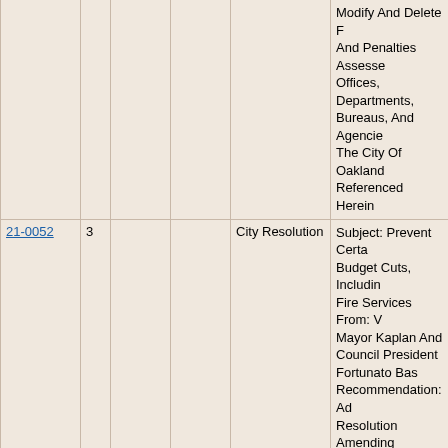| ID | # |  |  | Type | Subject/Description |
| --- | --- | --- | --- | --- | --- |
|  |  |  |  | Modify And Delete F And Penalties Assesse Offices, Departments, Bureaus, And Agencies The City Of Oakland Referenced Herein |  |
| 21-0052 | 3 |  |  | City Resolution | Subject: Prevent Certa Budget Cuts, Includin Fire Services From: V Mayor Kaplan And Council President Fortunato Bas Recommendation: Ad Resolution Amending Resolution No. 88174 Which Adopted The F Year 2020-21 Mid-Cy Amendments, To Amc Other Things, Prevent To Fire Services |
| 20-0177 | 1 |  |  | Informational Report | Subject: City Attorney Informational Report, From: Council Preside Kaplan Recommendat Receive An Informatio Report From The Offi Of The City Attorney, Including The Follow |